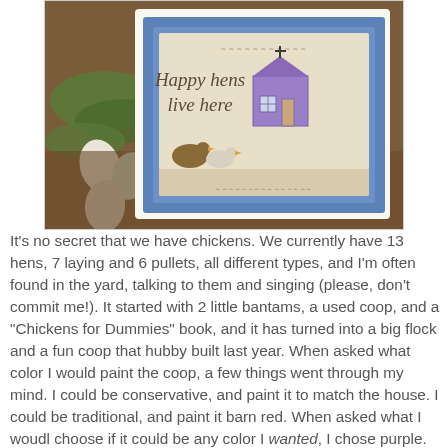[Figure (photo): A framed cross-stitch artwork reading 'Happy hens live here' with chickens and a purple house, displayed outdoors among leaves, eggs, and mulch. The frame is blue/grey.]
It's no secret that we have chickens. We currently have 13 hens, 7 laying and 6 pullets, all different types, and I'm often found in the yard, talking to them and singing (please, don't commit me!). It started with 2 little bantams, a used coop, and a "Chickens for Dummies" book, and it has turned into a big flock and a fun coop that hubby built last year. When asked what color I would paint the coop, a few things went through my mind. I could be conservative, and paint it to match the house. I could be traditional, and paint it barn red. When asked what I woudl choose if it could be any color I wanted, I chose purple. DMC 3041 purple. WDW Purple Haze purple. With white trim. SO, with that, the coop in the photo is our door in person! The Farmstead I should follow...